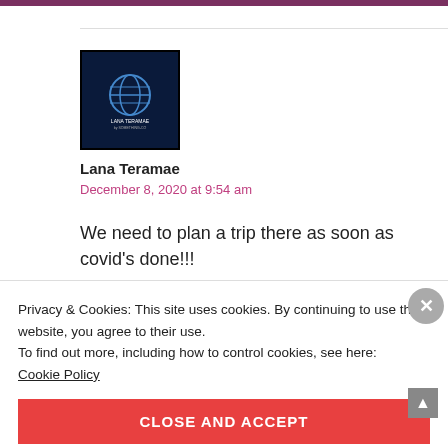[Figure (logo): Black square avatar with blue globe and 'LANA TERAMAE' text in white]
Lana Teramae
December 8, 2020 at 9:54 am
We need to plan a trip there as soon as covid's done!!!
Privacy & Cookies: This site uses cookies. By continuing to use this website, you agree to their use.
To find out more, including how to control cookies, see here:
Cookie Policy
CLOSE AND ACCEPT